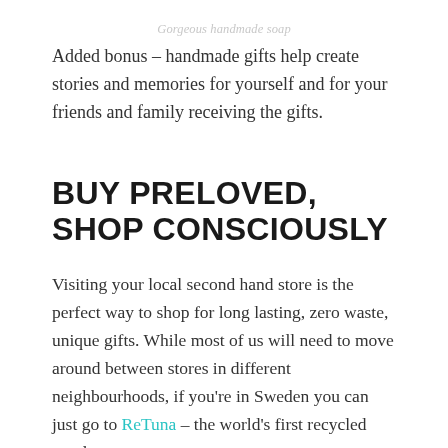Gorgeous handmade soap
Added bonus – handmade gifts help create stories and memories for yourself and for your friends and family receiving the gifts.
BUY PRELOVED, SHOP CONSCIOUSLY
Visiting your local second hand store is the perfect way to shop for long lasting, zero waste, unique gifts. While most of us will need to move around between stores in different neighbourhoods, if you're in Sweden you can just go to ReTuna – the world's first recycled goods